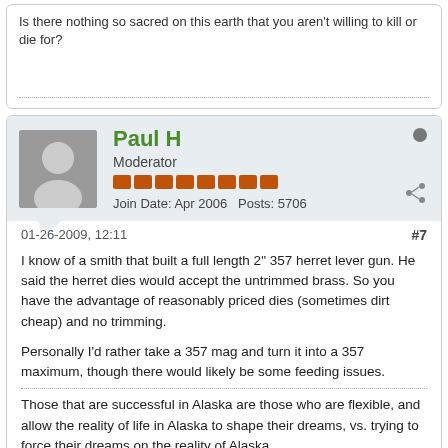Is there nothing so sacred on this earth that you aren't willing to kill or die for?
Paul H
Moderator
Join Date: Apr 2006   Posts: 5706
01-26-2009, 12:11
#7
I know of a smith that built a full length 2" 357 herret lever gun. He said the herret dies would accept the untrimmed brass. So you have the advantage of reasonably priced dies (sometimes dirt cheap) and no trimming.
Personally I'd rather take a 357 mag and turn it into a 357 maximum, though there would likely be some feeding issues.
Those that are successful in Alaska are those who are flexible, and allow the reality of life in Alaska to shape their dreams, vs. trying to force their dreams on the reality of Alaska.
If you have a tenuous grasp of reality, Alaska is not for you.